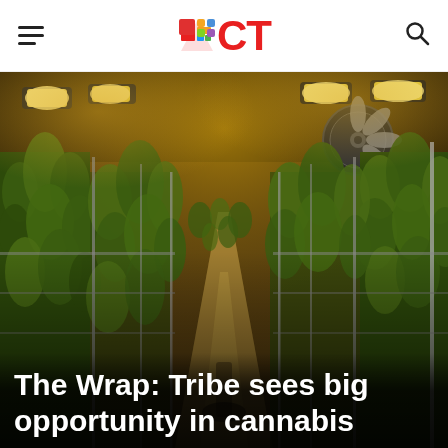ICT
[Figure (photo): Indoor cannabis grow facility with rows of tall cannabis plants under yellow/orange grow lights, metal poles supporting the plants, a large fan visible on the right ceiling, walkway between plant rows, warehouse-style interior]
The Wrap: Tribe sees big opportunity in cannabis